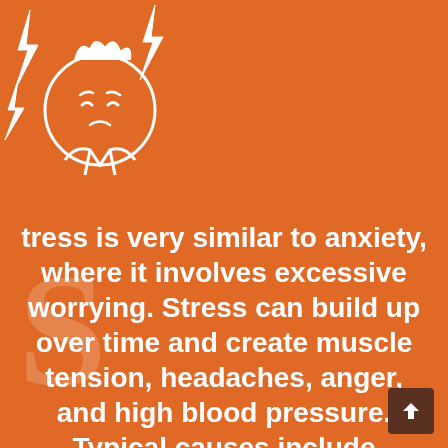[Figure (illustration): Icon/illustration of a stressed person (face with lightning bolt symbols around the head indicating stress), drawn in outline style on an orange background]
tress is very similar to anxiety, where it involves excessive worrying. Stress can build up over time and create muscle tension, headaches, anger, and high blood pressure. Typical causes include financial worries, work responsibilities (or interactions), family concerns, and safety.